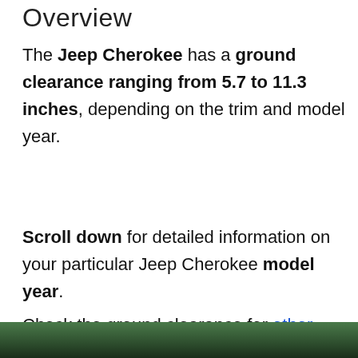Overview
The Jeep Cherokee has a ground clearance ranging from 5.7 to 11.3 inches, depending on the trim and model year.
Scroll down for detailed information on your particular Jeep Cherokee model year.
Check the ground clearance for other makes and models here.
[Figure (photo): Partial view of a Jeep Cherokee in a green outdoor/forest setting]